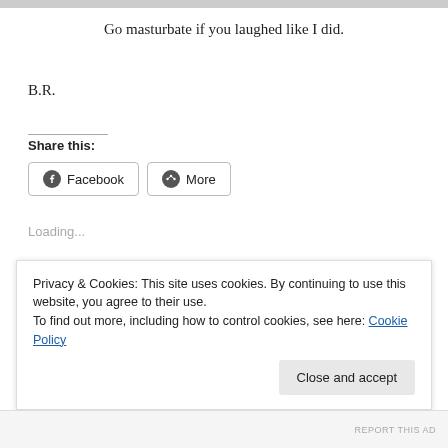Go masturbate if you laughed like I did.
B.R.
Share this:
Facebook
More
Loading...
Privacy & Cookies: This site uses cookies. By continuing to use this website, you agree to their use.
To find out more, including how to control cookies, see here: Cookie Policy
Close and accept
REPORT THIS AD